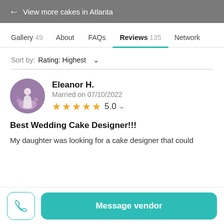← View more cakes in Atlanta
Gallery 49   About   FAQs   Reviews 135   Network
Sort by:  Rating: Highest
Eleanor H.
Married on 07/10/2022
★★★★★ 5.0
Best Wedding Cake Designer!!!
My daughter was looking for a cake designer that could
Message vendor